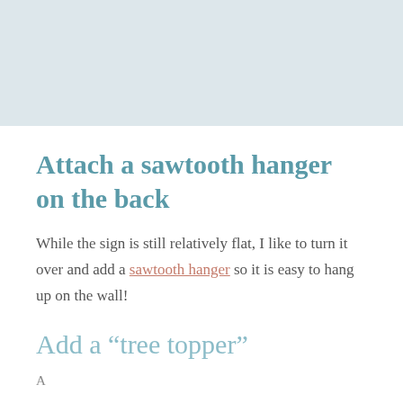[Figure (photo): Light blue/grey rectangular image placeholder at the top of the page]
Attach a sawtooth hanger on the back
While the sign is still relatively flat, I like to turn it over and add a sawtooth hanger so it is easy to hang up on the wall!
Add a “tree topper”